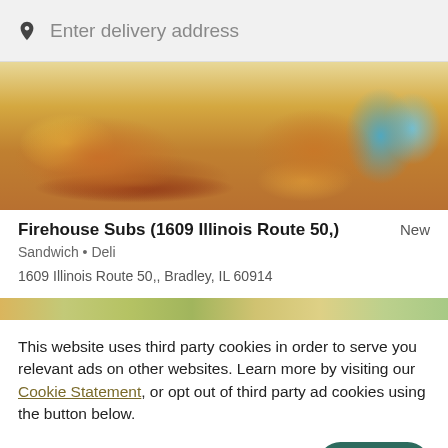Enter delivery address
[Figure (photo): Food photo strip showing Firehouse Subs sandwiches including a cold cut sub with vegetables and a chicken/steak sub, with a teal chip bag on the right side.]
Firehouse Subs (1609 Illinois Route 50,)
New
Sandwich • Deli
1609 Illinois Route 50,, Bradley, IL 60914
[Figure (photo): Partial second food image strip showing salad and other food items.]
This website uses third party cookies in order to serve you relevant ads on other websites. Learn more by visiting our Cookie Statement, or opt out of third party ad cookies using the button below.
OPT OUT
GOT IT